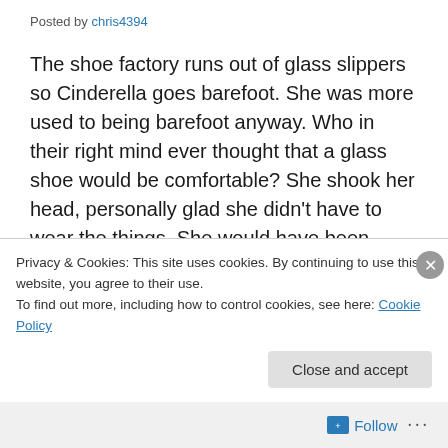Posted by chris4394
The shoe factory runs out of glass slippers so Cinderella goes barefoot. She was more used to being barefoot anyway. Who in their right mind ever thought that a glass shoe would be comfortable? She shook her head, personally glad she didn't have to wear the things. She would have been terrified all night long of stepping wrong and having one shatter and slice her foot to ribbons.
But to go entirely barefoot? She would look like the un-cared for step-child she was. Sitting in her tiny attic room
Privacy & Cookies: This site uses cookies. By continuing to use this website, you agree to their use.
To find out more, including how to control cookies, see here: Cookie Policy
Close and accept
Follow